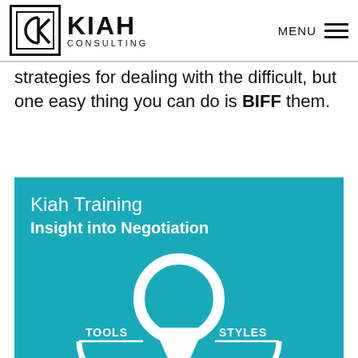KIAH CONSULTING | MENU
strategies for dealing with the difficult, but one easy thing you can do is BIFF them.
Kiah Training
Insight into Negotiation
[Figure (infographic): Location pin / map marker icon in white on teal background, with curved ribbons on left and right labeled TOOLS and STYLES, and a curved banner at the bottom reading CREATE AND CLAIM VALUE, with OPTIO[NS] text visible at bottom right.]